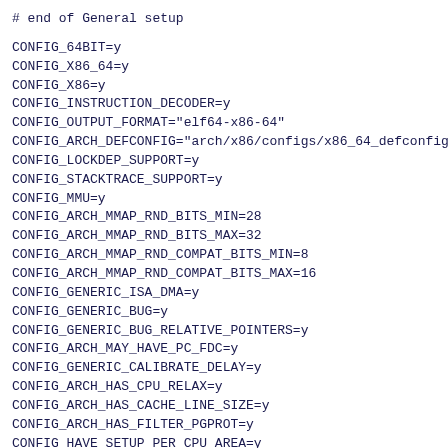# end of General setup
CONFIG_64BIT=y
CONFIG_X86_64=y
CONFIG_X86=y
CONFIG_INSTRUCTION_DECODER=y
CONFIG_OUTPUT_FORMAT="elf64-x86-64"
CONFIG_ARCH_DEFCONFIG="arch/x86/configs/x86_64_defconfig"
CONFIG_LOCKDEP_SUPPORT=y
CONFIG_STACKTRACE_SUPPORT=y
CONFIG_MMU=y
CONFIG_ARCH_MMAP_RND_BITS_MIN=28
CONFIG_ARCH_MMAP_RND_BITS_MAX=32
CONFIG_ARCH_MMAP_RND_COMPAT_BITS_MIN=8
CONFIG_ARCH_MMAP_RND_COMPAT_BITS_MAX=16
CONFIG_GENERIC_ISA_DMA=y
CONFIG_GENERIC_BUG=y
CONFIG_GENERIC_BUG_RELATIVE_POINTERS=y
CONFIG_ARCH_MAY_HAVE_PC_FDC=y
CONFIG_GENERIC_CALIBRATE_DELAY=y
CONFIG_ARCH_HAS_CPU_RELAX=y
CONFIG_ARCH_HAS_CACHE_LINE_SIZE=y
CONFIG_ARCH_HAS_FILTER_PGPROT=y
CONFIG_HAVE_SETUP_PER_CPU_AREA=y
CONFIG_NEED_PER_CPU_EMBED_FIRST_CHUNK=y
CONFIG_NEED_PER_CPU_PAGE_FIRST_CHUNK=y
CONFIG_ARCH_HIBERNATION_POSSIBLE=y
CONFIG_ARCH_SUSPEND_POSSIBLE=y
CONFIG_ARCH_WANT_GENERAL_HUGETLB=y
CONFIG_ZONE_DMA32=y